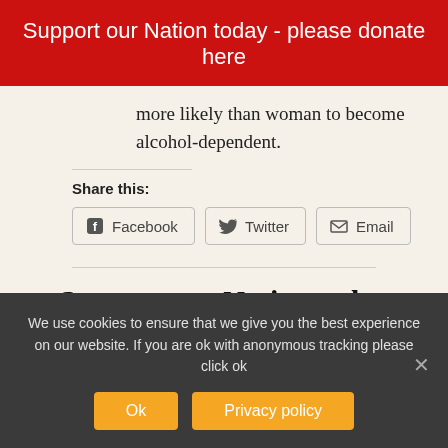Support our Nation today - please donate here
more likely than woman to become alcohol-dependent.
Share this:
[Figure (other): Share buttons: Facebook, Twitter, Email]
Support our Nation today
For the price of a cup of coffee a month you
We use cookies to ensure that we give you the best experience on our website. If you are ok with anonymous tracking please click ok
Ok
Privacy policy